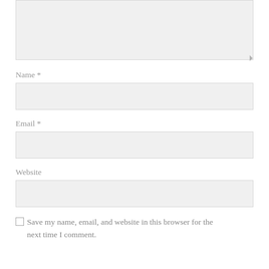[Figure (other): Textarea input box (comment field) with resize handle at bottom right]
Name *
[Figure (other): Text input box for Name field]
Email *
[Figure (other): Text input box for Email field]
Website
[Figure (other): Text input box for Website field]
Save my name, email, and website in this browser for the next time I comment.